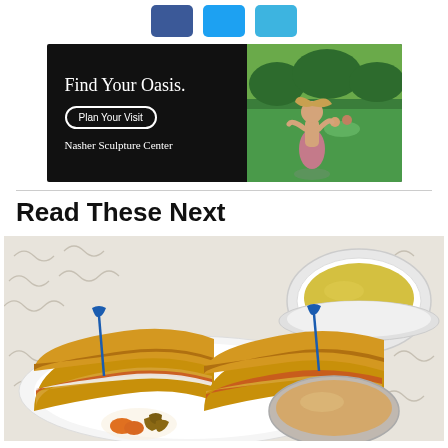[Figure (logo): Social share buttons: Facebook (blue), Twitter (light blue), Email (teal/blue)]
[Figure (photo): Advertisement banner for Nasher Sculpture Center. Black background on left with white serif text 'Find Your Oasis.' and a button 'Plan Your Visit' and text 'Nasher Sculpture Center'. Right side shows a photo of a woman spinning outdoors in a park.]
Read These Next
[Figure (photo): Food photo showing a grilled sandwich cut in half with blue toothpick skewers, a bowl of yellow soup, a small bowl of dipping sauce, and a garnish of walnuts and carrots on a patterned tablecloth.]